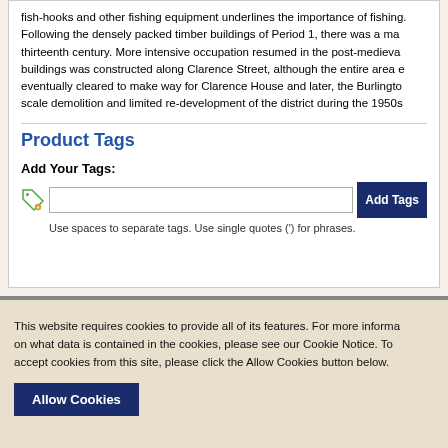fish-hooks and other fishing equipment underlines the importance of fishing. Following the densely packed timber buildings of Period 1, there was a ma thirteenth century. More intensive occupation resumed in the post-medieva buildings was constructed along Clarence Street, although the entire area e eventually cleared to make way for Clarence House and later, the Burlingto scale demolition and limited re-development of the district during the 1950s
Product Tags
Add Your Tags:
Use spaces to separate tags. Use single quotes (') for phrases.
This website requires cookies to provide all of its features. For more informa on what data is contained in the cookies, please see our Cookie Notice. To accept cookies from this site, please click the Allow Cookies button below.